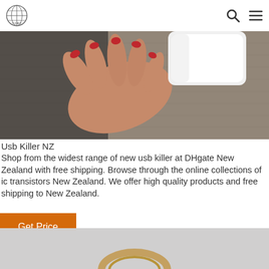Logo and navigation icons (search, menu)
[Figure (photo): Close-up photo of a hand with red nails holding a white USB device over gray fabric]
Usb Killer NZ
Shop from the widest range of new usb killer at DHgate New Zealand with free shipping. Browse through the online collections of ic transistors New Zealand. We offer high quality products and free shipping to New Zealand.
Get Price
[Figure (photo): Bottom section showing a partial view of a product on gray background]